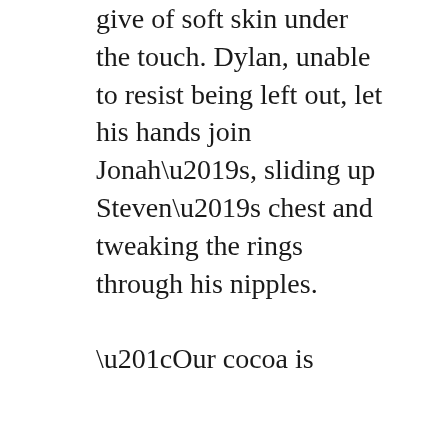give of soft skin under the touch. Dylan, unable to resist being left out, let his hands join Jonah's, sliding up Steven's chest and tweaking the rings through his nipples.

“Our cocoa is